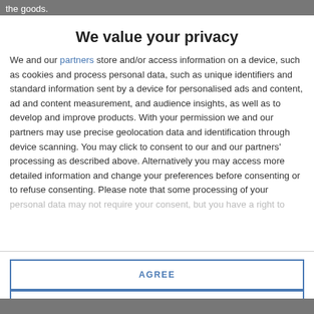the goods.
We value your privacy
We and our partners store and/or access information on a device, such as cookies and process personal data, such as unique identifiers and standard information sent by a device for personalised ads and content, ad and content measurement, and audience insights, as well as to develop and improve products. With your permission we and our partners may use precise geolocation data and identification through device scanning. You may click to consent to our and our partners' processing as described above. Alternatively you may access more detailed information and change your preferences before consenting or to refuse consenting. Please note that some processing of your personal data may not require your consent, but you have a right to
AGREE
MORE OPTIONS